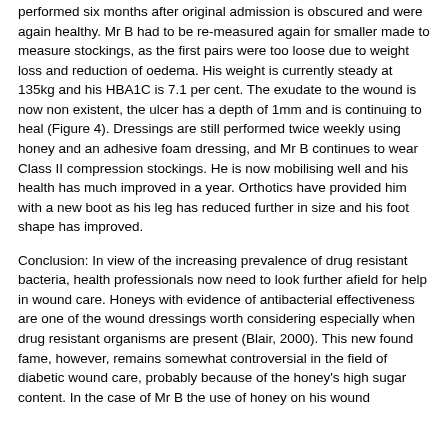performed six months after original admission is obscured and were again healthy. Mr B had to be re-measured again for smaller made to measure stockings, as the first pairs were too loose due to weight loss and reduction of oedema. His weight is currently steady at 135kg and his HBA1C is 7.1 per cent. The exudate to the wound is now non existent, the ulcer has a depth of 1mm and is continuing to heal (Figure 4). Dressings are still performed twice weekly using honey and an adhesive foam dressing, and Mr B continues to wear Class II compression stockings. He is now mobilising well and his health has much improved in a year. Orthotics have provided him with a new boot as his leg has reduced further in size and his foot shape has improved.
Conclusion: In view of the increasing prevalence of drug resistant bacteria, health professionals now need to look further afield for help in wound care. Honeys with evidence of antibacterial effectiveness are one of the wound dressings worth considering especially when drug resistant organisms are present (Blair, 2000). This new found fame, however, remains somewhat controversial in the field of diabetic wound care, probably because of the honey's high sugar content. In the case of Mr B the use of honey on his wound